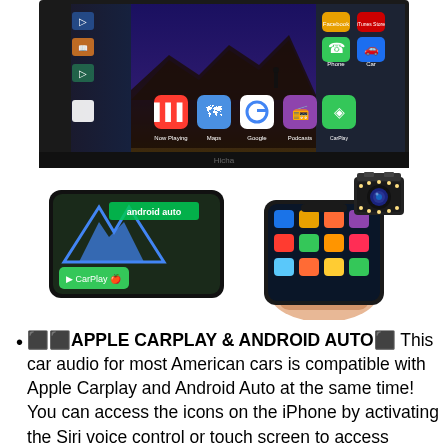[Figure (photo): Car stereo head unit screen showing Apple CarPlay interface with app icons including Maps, Google, Podcasts, and media player on a dark display with 'Hicha' branding]
[Figure (photo): Android Auto and Apple CarPlay logos on a screen next to a hand holding a smartphone showing app icons, with a backup camera in the upper right corner]
⬛⬛APPLE CARPLAY & ANDROID AUTO⬛ This car audio for most American cars is compatible with Apple Carplay and Android Auto at the same time! You can access the icons on the iPhone by activating the Siri voice control or touch screen to access phone contacts